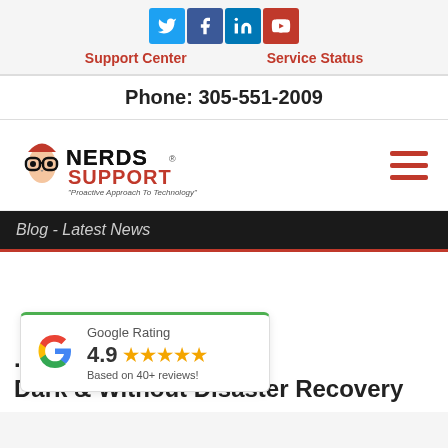[Figure (logo): Social media icons: Twitter (blue bird), Facebook (f), LinkedIn (in), YouTube (tube/play)]
Support Center    Service Status
Phone: 305-551-2009
[Figure (logo): Nerds Support logo with nerd glasses character and text 'NERDS SUPPORT - Proactive Approach To Technology']
Blog - Latest News
[Figure (other): Google Rating widget showing 4.9 stars based on 40+ reviews with Google G logo]
...eaves Them in the Dark & Without Disaster Recovery